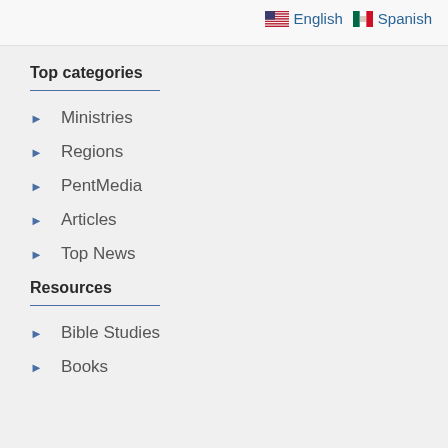English | Spanish
Top categories
Ministries
Regions
PentMedia
Articles
Top News
Resources
Bible Studies
Books